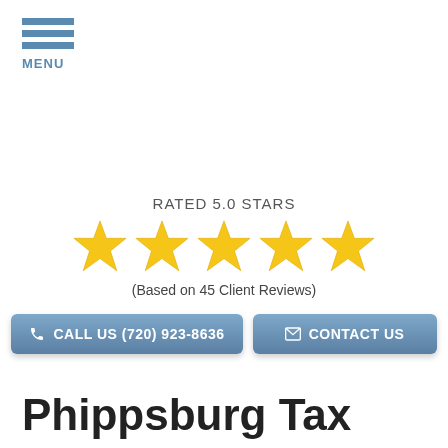MENU
[Figure (infographic): 5-star rating graphic with text 'RATED 5.0 STARS' and '(Based on 45 Client Reviews)']
CALL US (720) 923-8636
CONTACT US
Phippsburg Tax